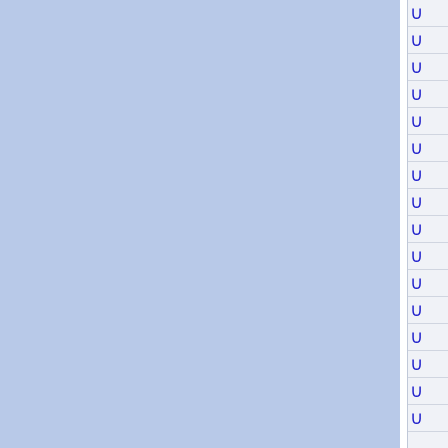[Figure (other): Page layout showing two blue-gray columns separated by a white vertical divider, with a right panel containing a column of blue curved symbols (resembling the letter U or horseshoe shapes) in individual cells separated by horizontal lines.]